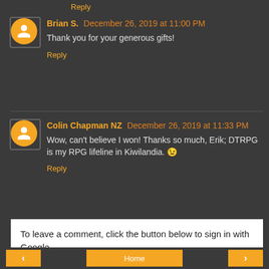Reply
Brian S. December 26, 2019 at 11:00 PM
Thank you for your generous gifts!
Reply
Colin Chapman NZ December 26, 2019 at 11:33 PM
Wow, can't believe I won! Thanks so much, Erik; DTRPG is my RPG lifeline in Kiwilandia. 😊
Reply
To leave a comment, click the button below to sign in with Google.
SIGN IN WITH GOOGLE